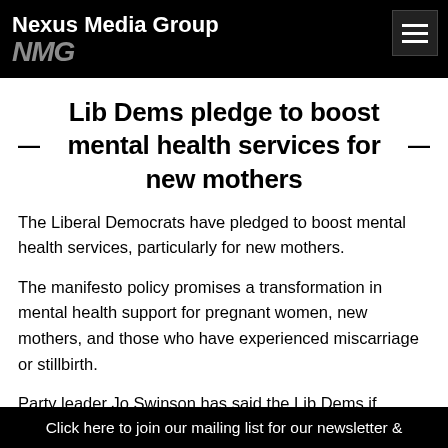Nexus Media Group NMG
Lib Dems pledge to boost mental health services for new mothers
The Liberal Democrats have pledged to boost mental health services, particularly for new mothers.
The manifesto policy promises a transformation in mental health support for pregnant women, new mothers, and those who have experienced miscarriage or stillbirth.
Party leader Jo Swinson has said the Lib Dems if elected will ensure every new mother gets a dedicated maternal postnatal appointment and will introduce other measures to
Click here to join our mailing list for our newsletter &